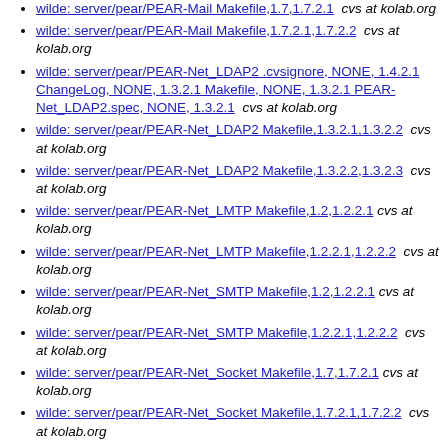wilde: server/pear/PEAR-Mail Makefile,1.7,1.7.2.1  cvs at kolab.org
wilde: server/pear/PEAR-Mail Makefile,1.7.2.1,1.7.2.2  cvs at kolab.org
wilde: server/pear/PEAR-Net_LDAP2 .cvsignore, NONE, 1.4.2.1 ChangeLog, NONE, 1.3.2.1 Makefile, NONE, 1.3.2.1 PEAR-Net_LDAP2.spec, NONE, 1.3.2.1  cvs at kolab.org
wilde: server/pear/PEAR-Net_LDAP2 Makefile,1.3.2.1,1.3.2.2  cvs at kolab.org
wilde: server/pear/PEAR-Net_LDAP2 Makefile,1.3.2.2,1.3.2.3  cvs at kolab.org
wilde: server/pear/PEAR-Net_LMTP Makefile,1.2,1.2.2.1  cvs at kolab.org
wilde: server/pear/PEAR-Net_LMTP Makefile,1.2.2.1,1.2.2.2  cvs at kolab.org
wilde: server/pear/PEAR-Net_SMTP Makefile,1.2,1.2.2.1  cvs at kolab.org
wilde: server/pear/PEAR-Net_SMTP Makefile,1.2.2.1,1.2.2.2  cvs at kolab.org
wilde: server/pear/PEAR-Net_Socket Makefile,1.7,1.7.2.1  cvs at kolab.org
wilde: server/pear/PEAR-Net_Socket Makefile,1.7.2.1,1.7.2.2  cvs at kolab.org
wilde: server/pear/PEAR-Net_URL Makefile,1.2,1.2.2.1